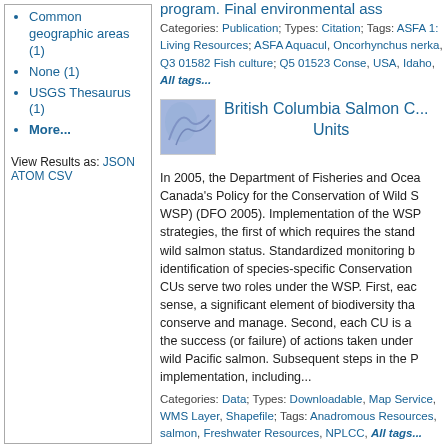Common geographic areas (1)
None (1)
USGS Thesaurus (1)
More...
View Results as: JSON ATOM CSV
program. Final environmental ass
Categories: Publication; Types: Citation; Tags: ASFA 1: Living Resources; ASFA Aquacul, Oncorhynchus nerka, Q3 01582 Fish culture; Q5 01523 Conse, USA, Idaho, All tags...
British Columbia Salmon C... Units
In 2005, the Department of Fisheries and Ocea Canada's Policy for the Conservation of Wild S WSP) (DFO 2005). Implementation of the WSP strategies, the first of which requires the stand wild salmon status. Standardized monitoring b identification of species-specific Conservation CUs serve two roles under the WSP. First, eac sense, a significant element of biodiversity tha conserve and manage. Second, each CU is a the success (or failure) of actions taken under wild Pacific salmon. Subsequent steps in the P implementation, including...
Categories: Data; Types: Downloadable, Map Service, WMS Layer, Shapefile; Tags: Anadromous Resources, salmon, Freshwater Resources, NPLCC, All tags...